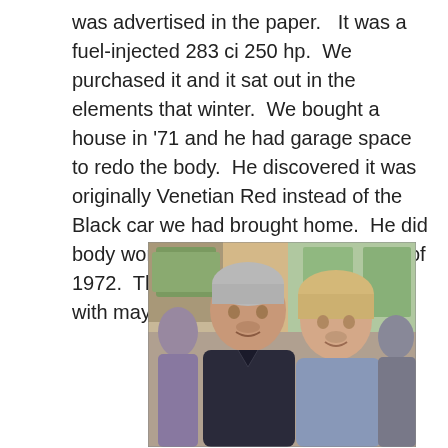was advertised in the paper.   It was a fuel-injected 283 ci 250 hp.  We purchased it and it sat out in the elements that winter.  We bought a house in '71 and he had garage space to redo the body.  He discovered it was originally Venetian Red instead of the Black car we had brought home.  He did body work and painted it in the spring of 1972.  The car then sat for many years with maybe a ride here and there.
[Figure (photo): A couple posing for a photo indoors. A man with grey hair wearing a dark shirt on the left, and a woman with blonde hair wearing a light blue top on the right. Background shows windows and other people.]